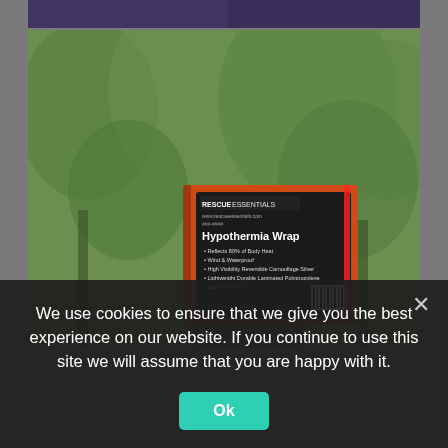[Figure (photo): Top portion of a photo showing purple/dark background, partially cropped at top of page]
[Figure (photo): Person holding up an orange packaged 'Rescue Essentials Hypothermia Wrap' product against a green forest background. The package reads: RESCUE ESSENTIALS, www.rescueessentials.com, Hypothermia Wrap, with bullet points: Reflects 80% of Body Heat, Wind & Waterproof, High Visibility Reversible Camouflage Silver, Lightweight Durable Laminated Polypropylene, Size: 60' x 90']
We use cookies to ensure that we give you the best experience on our website. If you continue to use this site we will assume that you are happy with it.